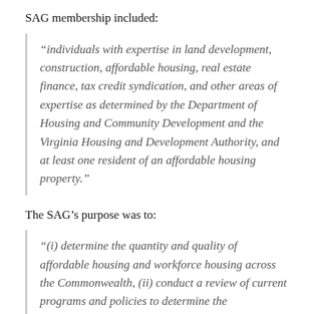SAG membership included:
“individuals with expertise in land development, construction, affordable housing, real estate finance, tax credit syndication, and other areas of expertise as determined by the Department of Housing and Community Development and the Virginia Housing and Development Authority, and at least one resident of an affordable housing property.”
The SAG’s purpose was to:
“(i) determine the quantity and quality of affordable housing and workforce housing across the Commonwealth, (ii) conduct a review of current programs and policies to determine the effectiveness of current housing policy efforts, (iii)